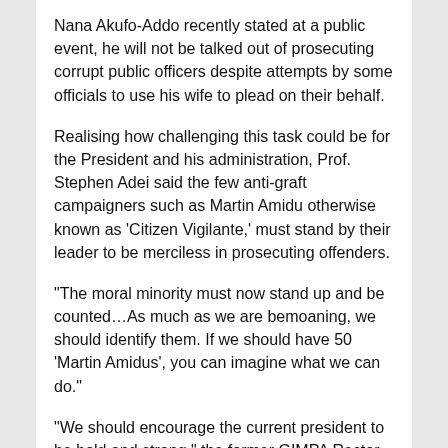Nana Akufo-Addo recently stated at a public event, he will not be talked out of prosecuting corrupt public officers despite attempts by some officials to use his wife to plead on their behalf.
Realising how challenging this task could be for the President and his administration, Prof. Stephen Adei said the few anti-graft campaigners such as Martin Amidu otherwise known as 'Citizen Vigilante,' must stand by their leader to be merciless in prosecuting offenders.
“The moral minority must now stand up and be counted…As much as we are bemoaning, we should identify them. If we should have 50 ‘Martin Amidus’, you can imagine what we can do.”
“We should encourage the current president to be bold and strong,” the former GIMPA Rector told Nhyira Addo, host of the Super Morning Show on Joy FM.
Tuesday’s edition of the Show was transmitted live from the premises of Ashesi University, Brekusu near Accra. The institution this week organized a 6-day workshop dubbed ‘The Education Collaborative at Ashesi’ which began on Sunday, June 4 and is expected to end Friday, June 9, 2017.